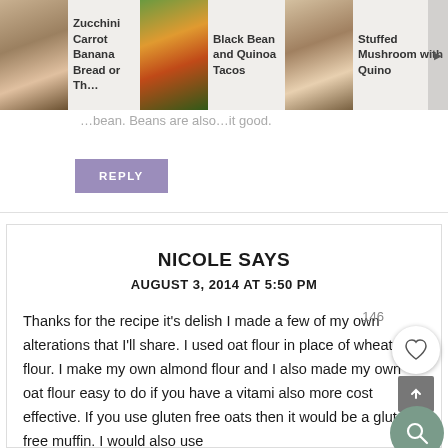[Figure (screenshot): Top navigation bar showing related article thumbnails: Zucchini Carrot Banana Bread or Th..., Black Bean and Quinoa Tacos, Stuffed Mushroom with Quinoa]
...bean. Beans are also...it good.
REPLY
NICOLE SAYS
AUGUST 3, 2014 AT 5:50 PM
Thanks for the recipe it's delish I made a few of my own alterations that I'll share. I used oat flour in place of wheat flour. I make my own almond flour and I also made my own oat flour easy to do if you have a vitami also more cost effective. If you use gluten free oats then it would be a gluton free muffin. I would also use quinoa flour and pecan flour in this as well. I cook my quinoa in almond milk instead of water. Always do this better.